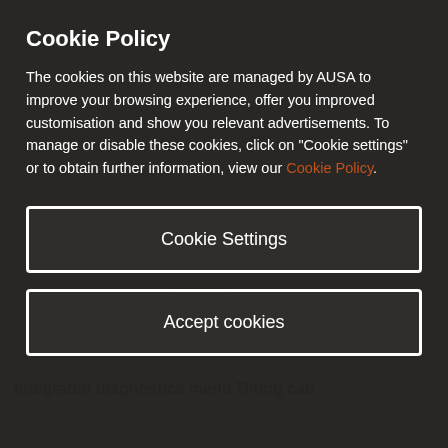[Figure (screenshot): Gray website background with orange machine icons (diagnostics menu icon on left, tilting cab icon on right) and feature labels at bottom]
Cookie Policy
The cookies on this website are managed by AUSA to improve your browsing experience, offer you improved customisation and show you relevant advertisements. To manage or disable these cookies, click on "Cookie settings" or to obtain further information, view our Cookie Policy.
Cookie Settings
Accept cookies
Integrated diagnostics menu
Tilting cab